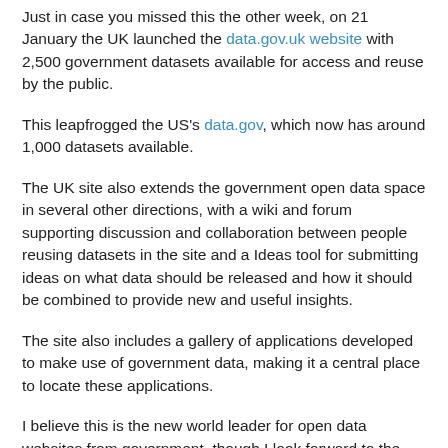Just in case you missed this the other week, on 21 January the UK launched the data.gov.uk website with 2,500 government datasets available for access and reuse by the public.
This leapfrogged the US's data.gov, which now has around 1,000 datasets available.
The UK site also extends the government open data space in several other directions, with a wiki and forum supporting discussion and collaboration between people reusing datasets in the site and a Ideas tool for submitting ideas on what data should be released and how it should be combined to provide new and useful insights.
The site also includes a gallery of applications developed to make use of government data, making it a central place to locate these applications.
I believe this is the new world leader for open data websites from government, though I look forward to the day when